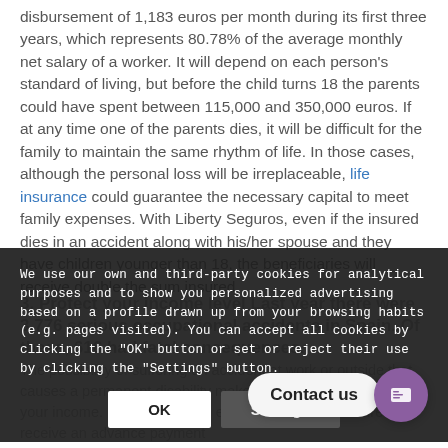disbursement of 1,183 euros per month during its first three years, which represents 80.78% of the average monthly net salary of a worker. It will depend on each person's standard of living, but before the child turns 18 the parents could have spent between 115,000 and 350,000 euros. If at any time one of the parents dies, it will be difficult for the family to maintain the same rhythm of life. In those cases, although the personal loss will be irreplaceable, life insurance could guarantee the necessary capital to meet family expenses. With Liberty Seguros, even if the insured dies in an accident along with his/her spouse and they have children younger than 18, the beneficiaries will receive double the sum insured
We use our own and third-party cookies for analytical purposes and to show you personalized advertising based on a profile drawn up from your browsing habits (e.g. pages visited). You can accept all cookies by clicking the "OK" button or set or reject their use by clicking the "Settings" button.
3. Protect your income level Last year there were 3,776 serious occupational accidents in Spain. Of these, 616 had fatal consequences.
The possibility of suffering an accident at work or outside that causes a permanent disability makes it a wise choice to protect your income. It will depend on each policy, but the insured can receive an advance payment